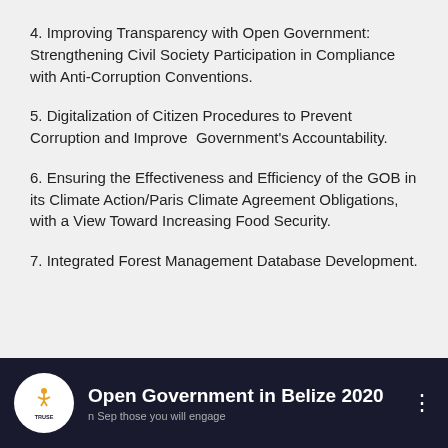4. Improving Transparency with Open Government: Strengthening Civil Society Participation in Compliance with Anti-Corruption Conventions.
5. Digitalization of Citizen Procedures to Prevent Corruption and Improve  Government's Accountability.
6. Ensuring the Effectiveness and Efficiency of the GOB in its Climate Action/Paris Climate Agreement Obligations, with a View Toward Increasing Food Security.
7. Integrated Forest Management Database Development.
[Figure (screenshot): Dark video thumbnail bar showing a logo circle with TRUSE text and a golden figure icon, title 'Open Government in Belize 2020', and a three-dot menu icon on the right. Subtitle text partially visible below the title.]